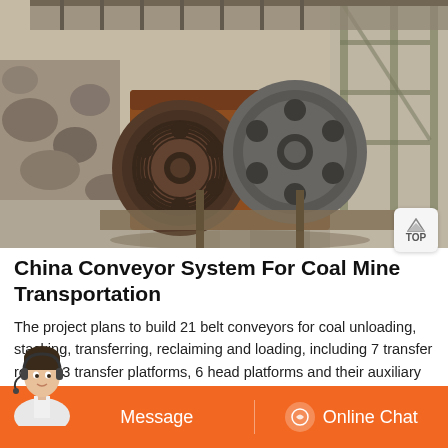[Figure (photo): Industrial conveyor/crusher system at a coal mine facility. Large orange/brown mechanical equipment with pulleys/wheels, set in an open excavation site with rocky terrain and structural steel framework.]
China Conveyor System For Coal Mine Transportation
The project plans to build 21 belt conveyors for coal unloading, stacking, transferring, reclaiming and loading, including 7 transfer rooms, 3 transfer platforms, 6 head platforms and their auxiliary facilities, which will adopt the mode of combination of new construction and relocation. 1 the rated capacity of unloading trolley XL1, XL2 of ...